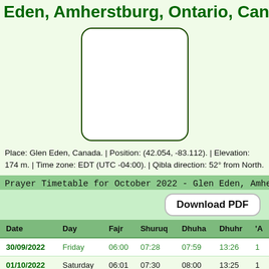Eden, Amherstburg, Ontario, Canada
[Figure (map): Map placeholder box with rounded corners, white background, dark green border]
Place: Glen Eden, Canada. | Position: (42.054, -83.112). | Elevation: 174 m. | Time zone: EDT (UTC -04:00). | Qibla direction: 52° from North.
Prayer Timetable for October 2022 - Glen Eden, Amhe...
| Date | Day | Fajr | Shuruq | Dhuha | Dhuhr | 'A... |
| --- | --- | --- | --- | --- | --- | --- |
| 30/09/2022 | Friday | 06:00 | 07:28 | 07:59 | 13:26 | 1 |
| 01/10/2022 | Saturday | 06:01 | 07:30 | 08:00 | 13:25 | 1 |
| 02/10/2022 | Sunday | 06:02 | 07:31 | 08:02 | 13:25 | 1 |